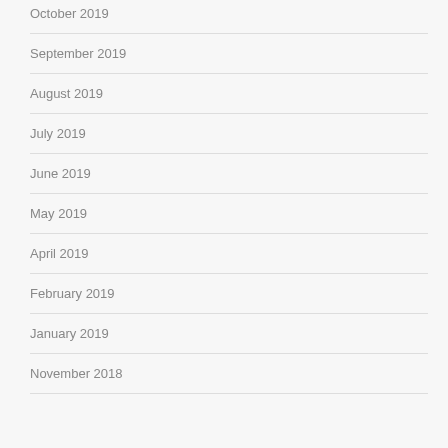October 2019
September 2019
August 2019
July 2019
June 2019
May 2019
April 2019
February 2019
January 2019
November 2018